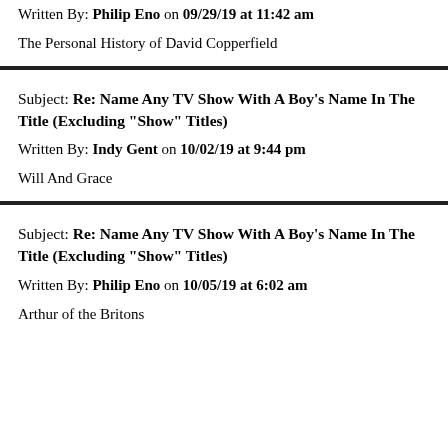Written By: Philip Eno on 09/29/19 at 11:42 am
The Personal History of David Copperfield
Subject: Re: Name Any TV Show With A Boy's Name In The Title (Excluding "Show" Titles)
Written By: Indy Gent on 10/02/19 at 9:44 pm
Will And Grace
Subject: Re: Name Any TV Show With A Boy's Name In The Title (Excluding "Show" Titles)
Written By: Philip Eno on 10/05/19 at 6:02 am
Arthur of the Britons